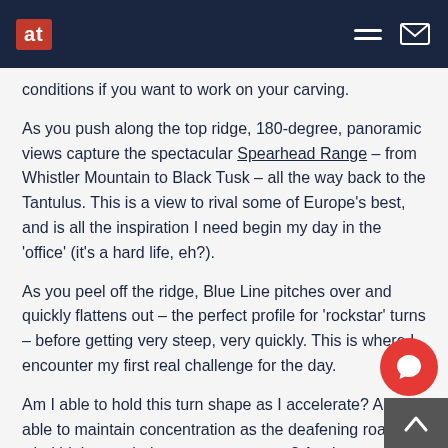at [logo] — navigation bar with hamburger menu and envelope icon
conditions if you want to work on your carving.
As you push along the top ridge, 180-degree, panoramic views capture the spectacular Spearhead Range – from Whistler Mountain to Black Tusk – all the way back to the Tantulus. This is a view to rival some of Europe's best, and is all the inspiration I need begin my day in the 'office' (it's a hard life, eh?).
As you peel off the ridge, Blue Line pitches over and quickly flattens out – the perfect profile for 'rockstar' turns – before getting very steep, very quickly. This is where I encounter my first real challenge for the day.
Am I able to hold this turn shape as I accelerate? Am I able to maintain concentration as the deafening roar of wind hitting my helmet enters my ears? Am I